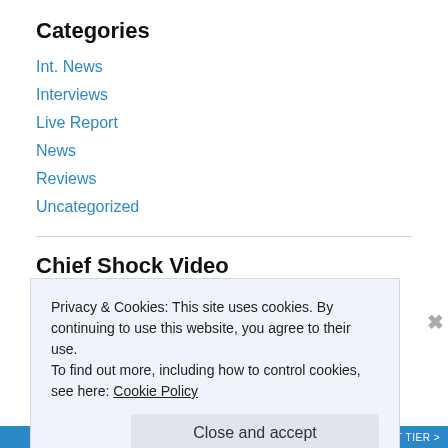Categories
Int. News
Interviews
Live Report
News
Reviews
Uncategorized
Chief Shock Video
RITUAL EFFECT – “Brand New”
Privacy & Cookies: This site uses cookies. By continuing to use this website, you agree to their use.
To find out more, including how to control cookies, see here: Cookie Policy
Close and accept